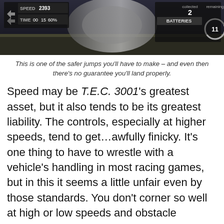[Figure (screenshot): A screenshot from T.E.C. 3001 racing game showing speed HUD reading 2393, time 00:15 60%, and a BATTERIES indicator with 11 remaining, 2 collected]
This is one of the safer jumps you'll have to make – and even then there's no guarantee you'll land properly.
Speed may be T.E.C. 3001's greatest asset, but it also tends to be its greatest liability. The controls, especially at higher speeds, tend to get…awfully finicky. It's one thing to have to wrestle with a vehicle's handling in most racing games, but in this it seems a little unfair even by those standards. You don't corner so well at high or low speeds and obstacle courses involving a lot of sharp turns tend to become exercises in frustration. In a similar vein, the camera angle tends to make distances hard to judge; between that and the pretty floaty jumping physics, you should expect to have to